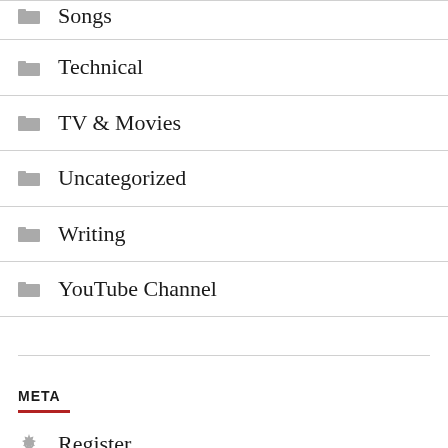Songs
Technical
TV & Movies
Uncategorized
Writing
YouTube Channel
META
Register